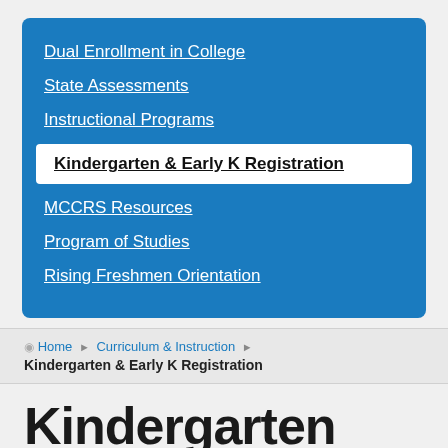Dual Enrollment in College
State Assessments
Instructional Programs
Kindergarten & Early K Registration
MCCRS Resources
Program of Studies
Rising Freshmen Orientation
Home › Curriculum & Instruction › Kindergarten & Early K Registration
Kindergarten Registration